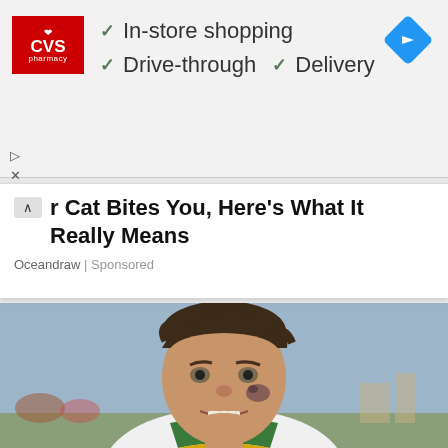[Figure (screenshot): CVS Pharmacy advertisement banner with red CVS logo, checkmarks listing 'In-store shopping', 'Drive-through', 'Delivery', and a blue diamond navigation arrow icon on the right]
In-store shopping
Drive-through  ✓  Delivery
r Cat Bites You, Here's What It Really Means
Oceandraw | Sponsored
[Figure (photo): Young male football player in white jersey with green and yellow collar, bruised cheek, grinning expression, outdoor field background with cloudy sky]